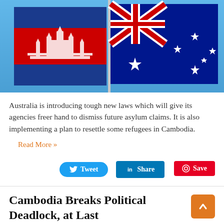[Figure (photo): Photo of the Cambodian flag (red, blue, and white with Angkor Wat emblem) and the Australian flag (blue with Union Jack and stars) flying side by side on a pole against a blue sky.]
Australia is introducing tough new laws which will give its agencies freer hand to dismiss future asylum claims. It is also implementing a plan to resettle some refugees in Cambodia.
Read More »
Tweet
Share
Save
Cambodia Breaks Political Deadlock, at Last